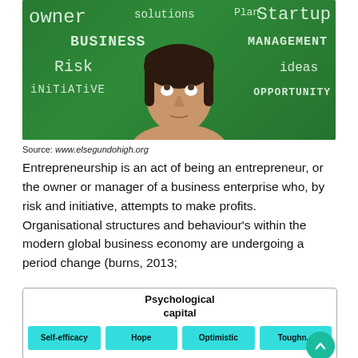[Figure (photo): Woman looking up at a green chalkboard with entrepreneurship-related words: owner, solutions, Plan, Startup, BUSINESS, Risk, MANAGEMENT, ideas, iNiTiATiVE, OPPORTUNITY]
Source: www.elsegundohigh.org
Entrepreneurship is an act of being an entrepreneur, or the owner or manager of a business enterprise who, by risk and initiative, attempts to make profits. Organisational structures and behaviour's within the modern global business economy are undergoing a period change (burns, 2013;
[Figure (infographic): Diagram showing Psychological capital at top, with four teal/cyan boxes below: Self-efficacy, Hope, Optimistic, Toughness]